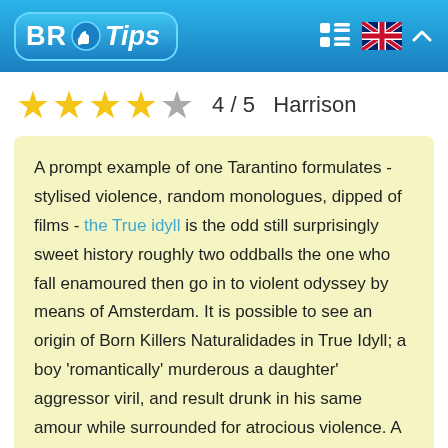BR Tips
4 / 5   Harrison
A prompt example of one Tarantino formulates - stylised violence, random monologues, dipped of films - the True idyll is the odd still surprisingly sweet history roughly two oddballs the one who fall enamoured then go in to violent odyssey by means of Amsterdam. It is possible to see an origin of Born Killers Naturalidades in True Idyll; a boy 'romantically' murderous a daughter' aggressor viril, and result drunk in his same amour while surrounded for atrocious violence. A